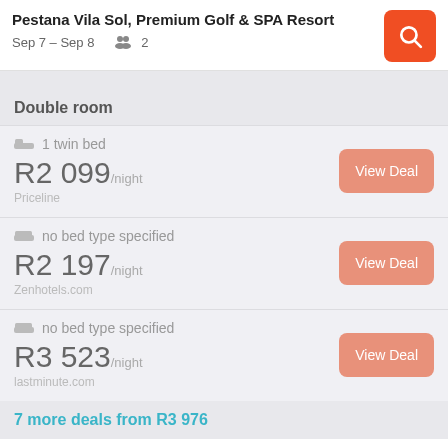Pestana Vila Sol, Premium Golf & SPA Resort
Sep 7 – Sep 8   2
Double room
1 twin bed
R2 099/night
Priceline
no bed type specified
R2 197/night
Zenhotels.com
no bed type specified
R3 523/night
lastminute.com
7 more deals from R3 976